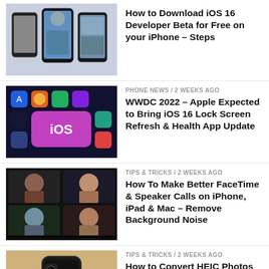[Figure (screenshot): Thumbnail showing multiple iPhones with iOS screens]
How to Download iOS 16 Developer Beta for Free on your iPhone – Steps
[Figure (screenshot): iOS app grid showing iOS icon and colorful app icons]
PHONE NEWS / 2 weeks ago
WWDC 2022 – Apple Expected to Bring iOS 16 Lock Screen Refresh & Health App Update
[Figure (screenshot): FaceTime call with multiple faces on dark background]
TIPS & TRICKS / 2 weeks ago
How To Make Better FaceTime & Speaker Calls on iPhone, iPad & Mac – Remove Background Noise
[Figure (photo): Black iPhone 12 mini on fuzzy surface]
TIPS & TRICKS / 2 weeks ago
How to Convert HEIC Photos to PNG, JPG on iPhone, Mac, Windows or Online
[Figure (photo): Black iPhone SE with curved back, dark background]
TIPS & TRICKS / 3 weeks ago
How to Instantly Clear your iPhone Storage – Steps to Free Space on Apple